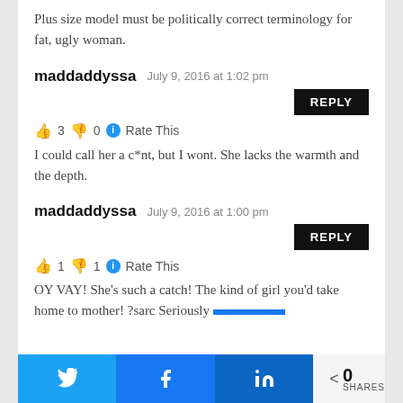Plus size model must be politically correct terminology for fat, ugly woman.
maddaddyssa  July 9, 2016 at 1:02 pm
👍 3 👎 0 ℹ Rate This
I could call her a c*nt, but I wont. She lacks the warmth and the depth.
maddaddyssa  July 9, 2016 at 1:00 pm
👍 1 👎 1 ℹ Rate This
OY VAY! She's such a catch! The kind of girl you'd take home to mother! ?sarc Seriously
< 0 SHARES